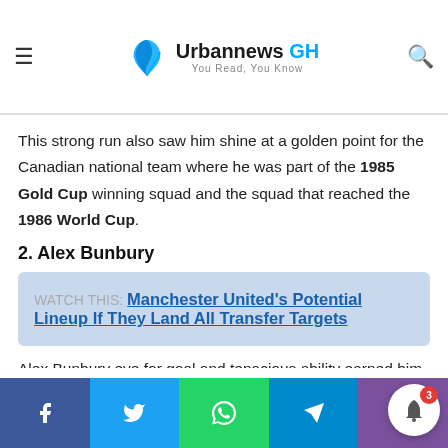Urbannews GH — You Read, You Know
where he was part of the squad that won 2 Eredivisie Titles. 1986…
This strong run also saw him shine at a golden point for the Canadian national team where he was part of the 1985 Gold Cup winning squad and the squad that reached the 1986 World Cup.
2. Alex Bunbury
WATCH THIS: Manchester United's Potential Lineup If They Land All Transfer Targets
Alex Bunbury eye for goal and tenacious ability earned him plenty of plaudits and caught the eye of West Ham in En…